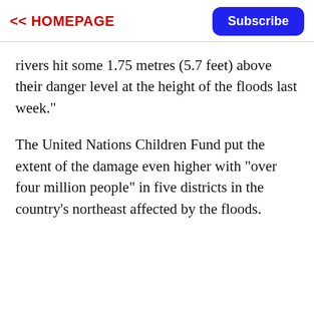<< HOMEPAGE
rivers hit some 1.75 metres (5.7 feet) above their danger level at the height of the floods last week."
The United Nations Children Fund put the extent of the damage even higher with "over four million people" in five districts in the country's northeast affected by the floods.